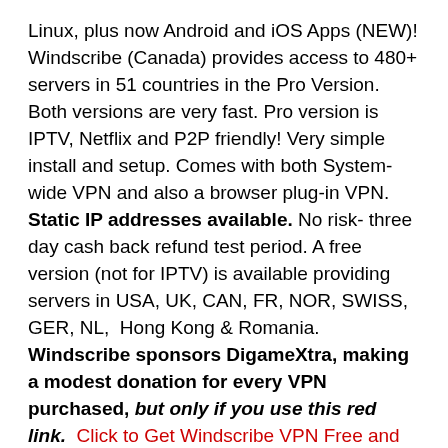Linux, plus now Android and iOS Apps (NEW)! Windscribe (Canada) provides access to 480+ servers in 51 countries in the Pro Version. Both versions are very fast. Pro version is IPTV, Netflix and P2P friendly! Very simple install and setup. Comes with both System-wide VPN and also a browser plug-in VPN. Static IP addresses available. No risk- three day cash back refund test period. A free version (not for IPTV) is available providing servers in USA, UK, CAN, FR, NOR, SWISS, GER, NL, Hong Kong & Romania. Windscribe sponsors DigameXtra, making a modest donation for every VPN purchased, but only if you use this red link. Click to Get Windscribe VPN Free and Pro – Recommended